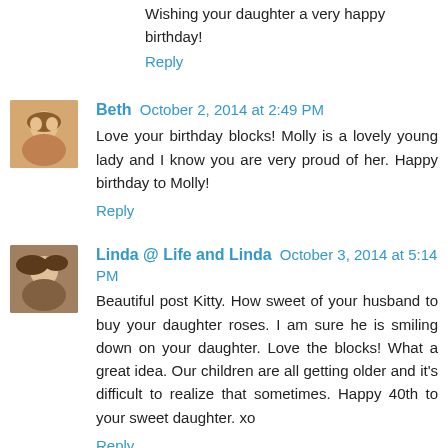Wishing your daughter a very happy birthday!
Reply
Beth  October 2, 2014 at 2:49 PM
Love your birthday blocks! Molly is a lovely young lady and I know you are very proud of her. Happy birthday to Molly!
Reply
Linda @ Life and Linda  October 3, 2014 at 5:14 PM
Beautiful post Kitty. How sweet of your husband to buy your daughter roses. I am sure he is smiling down on your daughter. Love the blocks! What a great idea. Our children are all getting older and it's difficult to realize that sometimes. Happy 40th to your sweet daughter. xo
Reply
Have a Daily Cup of Mrs. Olson  October 3, 2014 at 11:29 PM